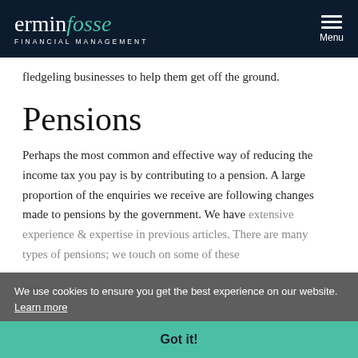erminfosse FINANCIAL MANAGEMENT
fledgeling businesses to help them get off the ground.
Pensions
Perhaps the most common and effective way of reducing the income tax you pay is by contributing to a pension. A large proportion of the enquiries we receive are following changes made to pensions by the government. We have extensive experience & expertise in previous articles. There are many types of pensions; we touch on some of these here.
We use cookies to ensure you get the best experience on our website. Learn more
Got it!